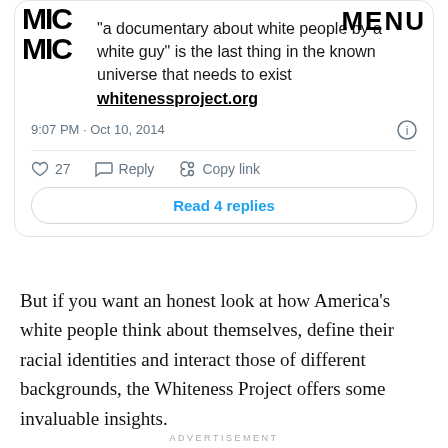[Figure (screenshot): Screenshot of a tweet card showing tweet text about 'a documentary about white people by a white guy' and whitenessproject.org link, with timestamp 9:07 PM · Oct 10, 2014, 27 likes, Reply, Copy link, and Read 4 replies button]
But if you want an honest look at how America's white people think about themselves, define their racial identities and interact those of different backgrounds, the Whiteness Project offers some invaluable insights.
ADVERTISEMENT